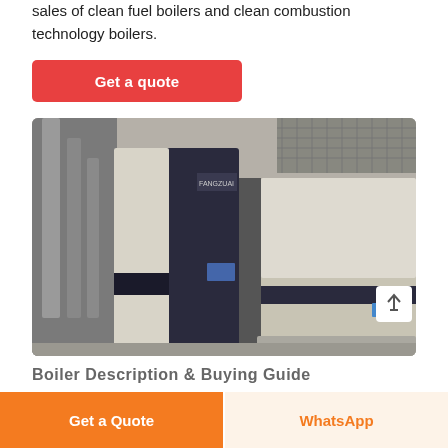sales of clean fuel boilers and clean combustion technology boilers.
Get a quote
[Figure (photo): Industrial boilers with FANGZUAI branding shown in a facility. Two large industrial boiler units with cream/white and dark navy panels are visible, with pipes and machinery in the background.]
Boiler Description & Buying Guide
Get a Quote
WhatsApp